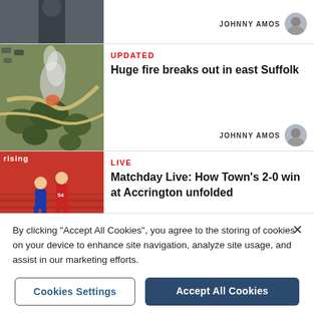[Figure (photo): Top partial article card showing a partial person image thumbnail and JOHNNY AMOS byline with avatar on the right]
JOHNNY AMOS
[Figure (photo): Aerial view of a wildfire with smoke rising from trees and roads, thumbnail for Suffolk fire article]
UPDATED
Huge fire breaks out in east Suffolk
JOHNNY AMOS
[Figure (photo): Football match photo showing Ipswich Town player in blue kit and Accrington player in red kit competing for the ball at a stadium]
LIVE
Matchday Live: How Town's 2-0 win at Accrington unfolded
By clicking "Accept All Cookies", you agree to the storing of cookies on your device to enhance site navigation, analyze site usage, and assist in our marketing efforts.
Cookies Settings
Accept All Cookies